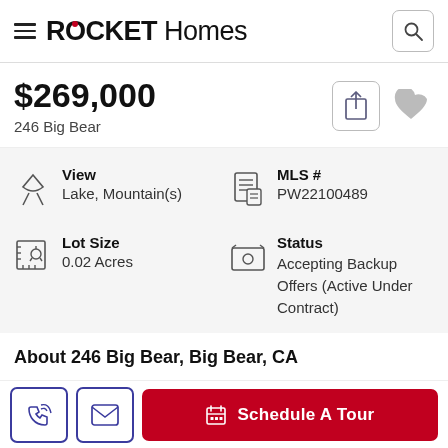ROCKET Homes
$269,000
246 Big Bear
View
Lake, Mountain(s)
MLS #
PW22100489
Lot Size
0.02 Acres
Status
Accepting Backup Offers (Active Under Contract)
About 246 Big Bear, Big Bear, CA
Schedule A Tour